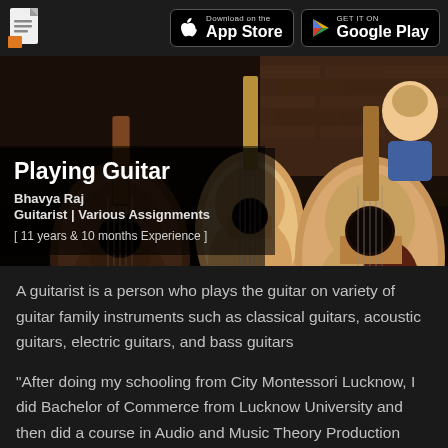Download on the App Store | GET IT ON Google Play
[Figure (photo): Photo of acoustic guitars displayed on a dark background with a person visible in the top right corner]
Playing Guitar
Bhavya Raj
Guitarist | Various Assignments
[ 11 years & 10 months Experience ]
A guitarist is a person who plays the guitar on variety of guitar family instruments such as classical guitars, acoustic guitars, electric guitars, and bass guitars
"After doing my schooling from City Montessori Lucknow, I did Bachelor of Commerce from Lucknow University and then did a course in Audio and Music Theory Production from Kuala Lumpur. I have worked in various creative assignments including a few